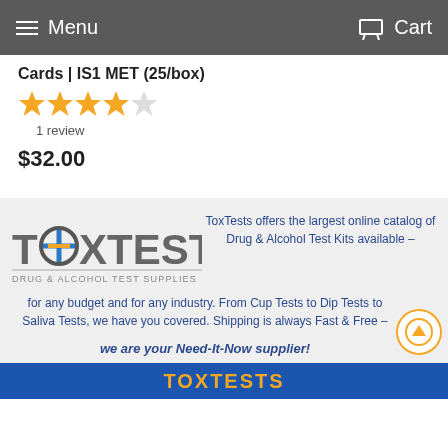Menu  Cart
Cards | IS1 MET (25/box)
[Figure (other): 4 out of 5 stars rating]
1 review
$32.00
[Figure (logo): ToxTests Drug & Alcohol Test Supplies logo]
ToxTests offers the largest online catalog of Drug & Alcohol Test Kits available – for any budget and for any industry. From Cup Tests to Dip Tests to Saliva Tests, we have you covered. Shipping is always Fast & Free – we are your Need-It-Now supplier!
TOXTESTS